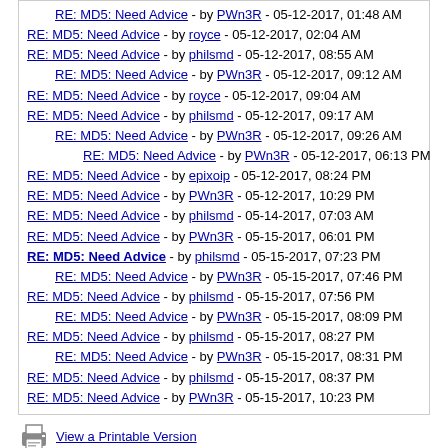RE: MD5: Need Advice - by PWn3R - 05-12-2017, 01:48 AM
RE: MD5: Need Advice - by royce - 05-12-2017, 02:04 AM
RE: MD5: Need Advice - by philsmd - 05-12-2017, 08:55 AM
RE: MD5: Need Advice - by PWn3R - 05-12-2017, 09:12 AM
RE: MD5: Need Advice - by royce - 05-12-2017, 09:04 AM
RE: MD5: Need Advice - by philsmd - 05-12-2017, 09:17 AM
RE: MD5: Need Advice - by PWn3R - 05-12-2017, 09:26 AM
RE: MD5: Need Advice - by PWn3R - 05-12-2017, 06:13 PM
RE: MD5: Need Advice - by epixoip - 05-12-2017, 08:24 PM
RE: MD5: Need Advice - by PWn3R - 05-12-2017, 10:29 PM
RE: MD5: Need Advice - by philsmd - 05-14-2017, 07:03 AM
RE: MD5: Need Advice - by PWn3R - 05-15-2017, 06:01 PM
RE: MD5: Need Advice - by philsmd - 05-15-2017, 07:23 PM
RE: MD5: Need Advice - by PWn3R - 05-15-2017, 07:46 PM
RE: MD5: Need Advice - by philsmd - 05-15-2017, 07:56 PM
RE: MD5: Need Advice - by PWn3R - 05-15-2017, 08:09 PM
RE: MD5: Need Advice - by philsmd - 05-15-2017, 08:27 PM
RE: MD5: Need Advice - by PWn3R - 05-15-2017, 08:31 PM
RE: MD5: Need Advice - by philsmd - 05-15-2017, 08:37 PM
RE: MD5: Need Advice - by PWn3R - 05-15-2017, 10:23 PM
View a Printable Version
Forum Team   Contact Us   hashcat Homepage   Return to Top   Lite (Archive) M
Powered By MyBB, © 2002-2022 MyBB Group.